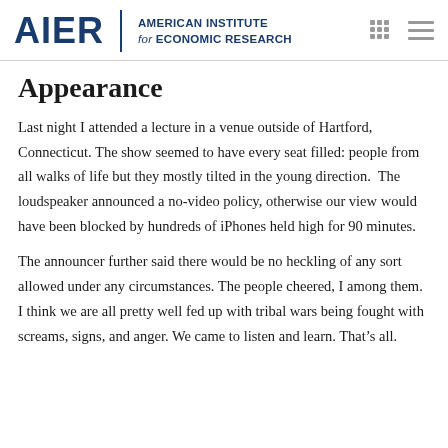AIER | AMERICAN INSTITUTE for ECONOMIC RESEARCH
Appearance
Last night I attended a lecture in a venue outside of Hartford, Connecticut. The show seemed to have every seat filled: people from all walks of life but they mostly tilted in the young direction.  The loudspeaker announced a no-video policy, otherwise our view would have been blocked by hundreds of iPhones held high for 90 minutes.
The announcer further said there would be no heckling of any sort allowed under any circumstances. The people cheered, I among them. I think we are all pretty well fed up with tribal wars being fought with screams, signs, and anger. We came to listen and learn. That’s all.